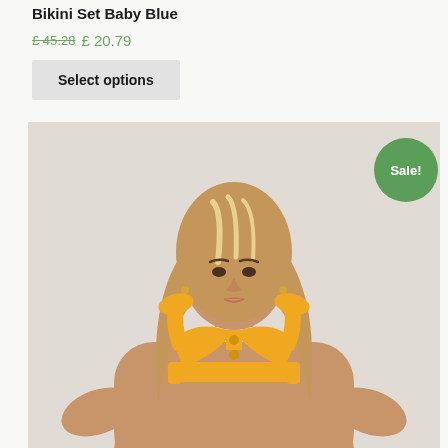Bikini Set Baby Blue
£ 45.28 £ 20.79
Select options
[Figure (photo): Model wearing an orange bikini top, photographed from the waist up against a light background. A green 'Sale!' badge is visible in the upper right corner of the product image.]